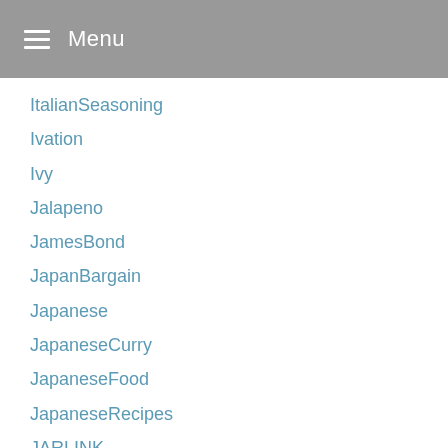Menu
ItalianSeasoning
Ivation
Ivy
Jalapeno
JamesBond
JapanBargain
Japanese
JapaneseCurry
JapaneseFood
JapaneseRecipes
JARLINK
JazzyVegetarian
Jewelry
JewelryJeansBaggy
JewelryOrganizers
JewishFood